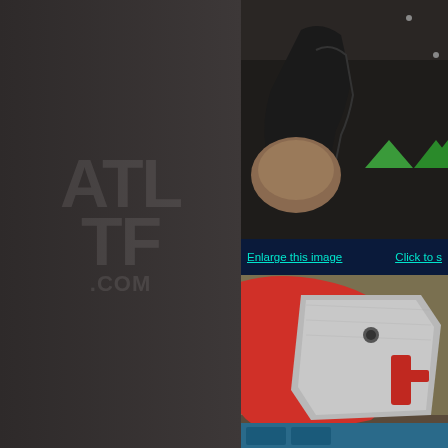[Figure (logo): ALLTF.COM watermark text in faded gray on dark brown background, left panel]
[Figure (photo): Close-up photo of black mechanical/automotive part on dark surface, partially cropped, with two green triangle navigation arrows (up and down) on the right side]
Enlarge this image    Click to s
[Figure (photo): Close-up photo of red and silver metal component, appears to be a red curved piece with a silver metallic plate/bracket, partially showing letters or logo cutout]